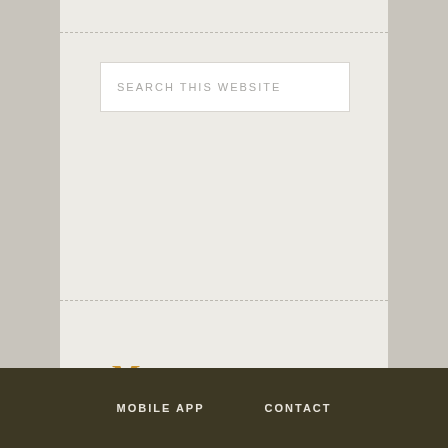SEARCH THIS WEBSITE
Meetups
There are no upcoming events at this time.
See all upcoming meetings
MOBILE APP   CONTACT